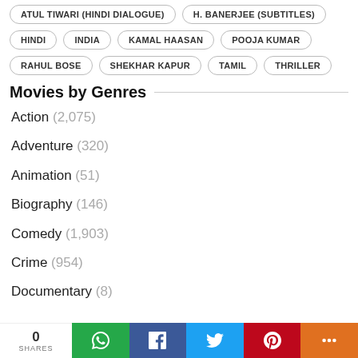ATUL TIWARI (HINDI DIALOGUE)
H. BANERJEE (SUBTITLES)
HINDI
INDIA
KAMAL HAASAN
POOJA KUMAR
RAHUL BOSE
SHEKHAR KAPUR
TAMIL
THRILLER
Movies by Genres
Action (2,075)
Adventure (320)
Animation (51)
Biography (146)
Comedy (1,903)
Crime (954)
Documentary (8)
0 SHARES | WhatsApp | Facebook | Twitter | Pinterest | More